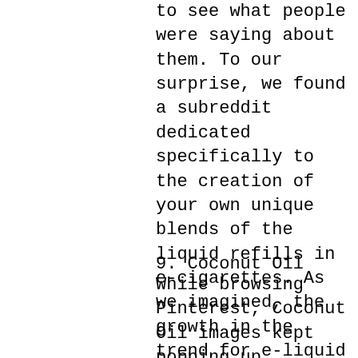to see what people were saying about them. To our surprise, we found a subreddit dedicated specifically to the creation of your own unique blends of the liquid refills in e-cigarettes. As we imagined, the growth in the trend for e-liquid matches the growth for e-cigarettes closely. Overall strong growth and what appears to be a great potential business opportunity.
9. Coconut Oil
While browsing Pinterest, Coconut Oil images kept popping up. Apparently coconut oil is a great all-in-one healthy oil that can be used for cooking, as a lip balm, moisturizer, shaving cream, deep treatment conditioner, makeup remover, body scrub, bug bites and the list goes on.
Additionally, to confirm the...